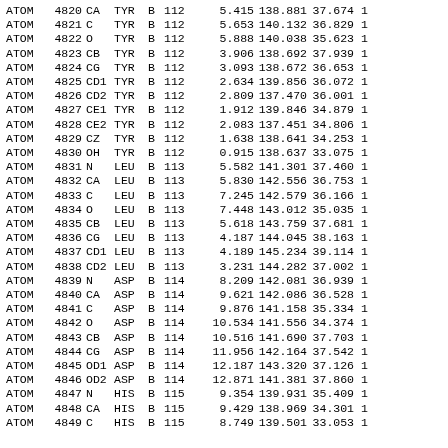| Record | Num | Atom | Res | Ch | Seq | X | Y | Z |
| --- | --- | --- | --- | --- | --- | --- | --- | --- |
| ATOM | 4820 | CA | TYR | B | 112 | 5.415 | 138.881 | 37.674 |
| ATOM | 4821 | C | TYR | B | 112 | 5.653 | 140.132 | 36.829 |
| ATOM | 4822 | O | TYR | B | 112 | 5.888 | 140.038 | 35.623 |
| ATOM | 4823 | CB | TYR | B | 112 | 3.906 | 138.692 | 37.939 |
| ATOM | 4824 | CG | TYR | B | 112 | 3.093 | 138.672 | 36.653 |
| ATOM | 4825 | CD1 | TYR | B | 112 | 2.634 | 139.856 | 36.072 |
| ATOM | 4826 | CD2 | TYR | B | 112 | 2.809 | 137.470 | 36.001 |
| ATOM | 4827 | CE1 | TYR | B | 112 | 1.912 | 139.846 | 34.879 |
| ATOM | 4828 | CE2 | TYR | B | 112 | 2.083 | 137.451 | 34.806 |
| ATOM | 4829 | CZ | TYR | B | 112 | 1.638 | 138.641 | 34.253 |
| ATOM | 4830 | OH | TYR | B | 112 | 0.915 | 138.637 | 33.075 |
| ATOM | 4831 | N | LEU | B | 113 | 5.582 | 141.301 | 37.460 |
| ATOM | 4832 | CA | LEU | B | 113 | 5.830 | 142.556 | 36.753 |
| ATOM | 4833 | C | LEU | B | 113 | 7.245 | 142.579 | 36.166 |
| ATOM | 4834 | O | LEU | B | 113 | 7.448 | 143.012 | 35.035 |
| ATOM | 4835 | CB | LEU | B | 113 | 5.618 | 143.759 | 37.681 |
| ATOM | 4836 | CG | LEU | B | 113 | 4.187 | 144.045 | 38.163 |
| ATOM | 4837 | CD1 | LEU | B | 113 | 4.189 | 145.234 | 39.114 |
| ATOM | 4838 | CD2 | LEU | B | 113 | 3.231 | 144.282 | 37.002 |
| ATOM | 4839 | N | ASP | B | 114 | 8.209 | 142.081 | 36.939 |
| ATOM | 4840 | CA | ASP | B | 114 | 9.621 | 142.086 | 36.528 |
| ATOM | 4841 | C | ASP | B | 114 | 9.876 | 141.158 | 35.334 |
| ATOM | 4842 | O | ASP | B | 114 | 10.534 | 141.556 | 34.374 |
| ATOM | 4843 | CB | ASP | B | 114 | 10.516 | 141.690 | 37.703 |
| ATOM | 4844 | CG | ASP | B | 114 | 11.956 | 142.164 | 37.542 |
| ATOM | 4845 | OD1 | ASP | B | 114 | 12.187 | 143.320 | 37.126 |
| ATOM | 4846 | OD2 | ASP | B | 114 | 12.871 | 141.381 | 37.860 |
| ATOM | 4847 | N | HIS | B | 115 | 9.354 | 139.931 | 35.409 |
| ATOM | 4848 | CA | HIS | B | 115 | 9.429 | 138.969 | 34.301 |
| ATOM | 4849 | C | HIS | B | 115 | 8.749 | 139.501 | 33.053 |